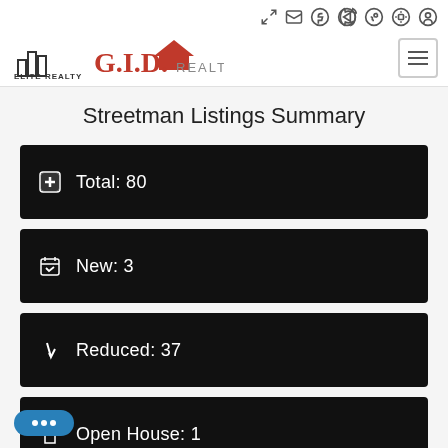[Figure (logo): NJB Elite Realty and GID Realty logos side by side]
Streetman Listings Summary
Total: 80
New: 3
Reduced: 37
Open House: 1